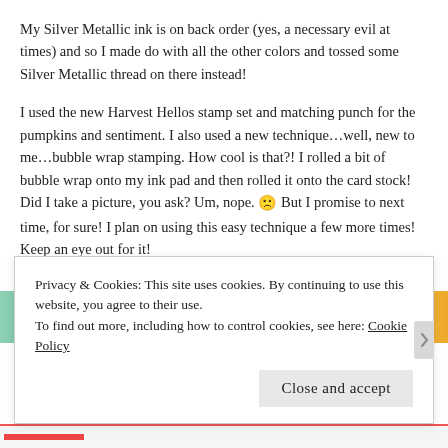My Silver Metallic ink is on back order (yes, a necessary evil at times) and so I made do with all the other colors and tossed some Silver Metallic thread on there instead!
I used the new Harvest Hellos stamp set and matching punch for the pumpkins and sentiment. I also used a new technique...well, new to me...bubble wrap stamping. How cool is that?! I rolled a bit of bubble wrap onto my ink pad and then rolled it onto the card stock! Did I take a picture, you ask? Um, nope. 🙁 But I promise to next time, for sure! I plan on using this easy technique a few more times! Keep an eye out for it!
Advertisements
[Figure (photo): Partial advertisement image showing colorful book/craft covers with teal, green, and yellow/orange colors. Text 'BOOK' visible.]
Privacy & Cookies: This site uses cookies. By continuing to use this website, you agree to their use.
To find out more, including how to control cookies, see here: Cookie Policy